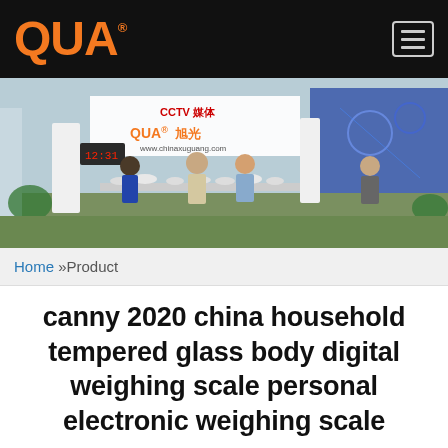QUA®
[Figure (photo): Trade show exhibition booth for QUA brand featuring scales and display products, with a CCTV logo banner and attendees.]
Home »Product
canny 2020 china household tempered glass body digital weighing scale personal electronic weighing scale
Just fill in the form below, click submit, you will get the price list, and we will contact you within one working day. Pl...